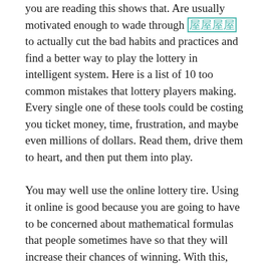you are reading this shows that. Are usually motivated enough to wade through [link] to actually cut the bad habits and practices and find a better way to play the lottery in intelligent system. Here is a list of 10 too common mistakes that lottery players making. Every single one of these tools could be costing you ticket money, time, frustration, and maybe even millions of dollars. Read them, drive them to heart, and then put them into play.
You may well use the online lottery tire. Using it online is good because you are going to have to be concerned about mathematical formulas that people sometimes have so that they will increase their chances of winning. With this, the internet wheel will calculate it can be automatically to be able to and offer you a number combination suggestions. The use of the lottery will isn't to make you win the jackpot prizes but strengthen the prospects of winning smaller sized amount of prizes